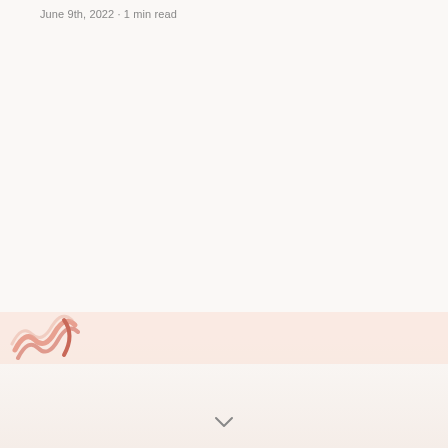June 9th, 2022 · 1 min read
[Figure (logo): Partial logo/illustration visible at bottom left, pink/salmon toned wavy design on a light pink banner strip]
[Figure (other): Small downward chevron arrow at bottom center of page]